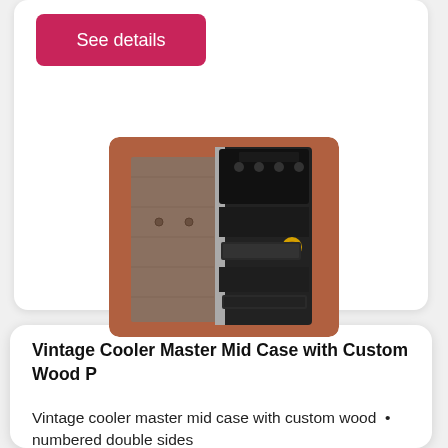See details
[Figure (photo): Vintage Cooler Master mid-tower PC case with custom wood paneling, shown at an angle. The case has a metallic and black finish with a yellow knob, drive bays, and various front panel controls.]
Vintage Cooler Master Mid Case with Custom Wood P
Vintage cooler master mid case with custom wood  •  numbered double sides